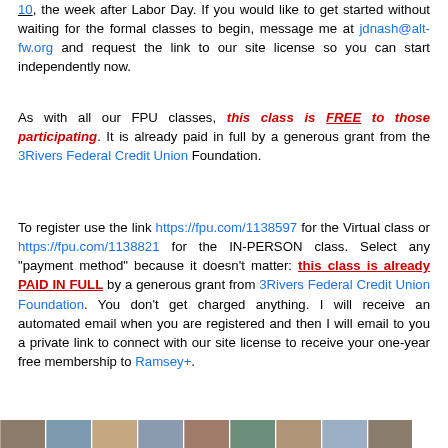10, the week after Labor Day. If you would like to get started without waiting for the formal classes to begin, message me at jdnash@alt-fw.org and request the link to our site license so you can start independently now.
As with all our FPU classes, this class is FREE to those participating. It is already paid in full by a generous grant from the 3Rivers Federal Credit Union Foundation.
To register use the link https://fpu.com/1138597 for the Virtual class or https://fpu.com/1138821 for the IN-PERSON class. Select any "payment method" because it doesn't matter: this class is already PAID IN FULL by a generous grant from 3Rivers Federal Credit Union Foundation. You don't get charged anything. I will receive an automated email when you are registered and then I will email to you a private link to connect with our site license to receive your one-year free membership to Ramsey+.
[Figure (photo): A horizontal strip of group photos showing multiple people]